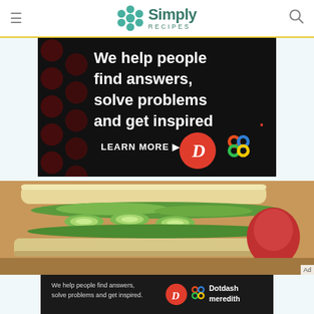Simply Recipes
[Figure (screenshot): Advertisement banner: dark background with red polka dots, white bold text 'We help people find answers, solve problems and get inspired.' with red period, LEARN MORE button with orange arrow, Dotdash D logo in red circle and Meredith colorful knot logo]
[Figure (photo): Close-up photo of a sandwich with cucumber slices, green lettuce, on white bread, with red apple in background]
[Figure (screenshot): Bottom ad banner: dark background with text 'We help people find answers, solve problems and get inspired.' with Dotdash D logo and Dotdash meredith text and colorful knot logo]